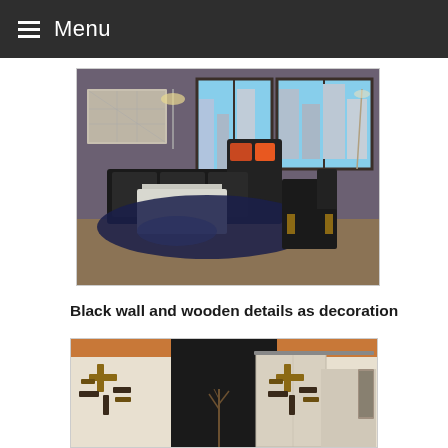Menu
[Figure (photo): Interior living room with dark leather sectional sofa, modern white coffee table, blue rug, two armchairs, large windows showing city buildings, and abstract wall art.]
Black wall and wooden details as decoration
[Figure (photo): Interior room with black accent wall, cream walls, orange ceiling, wooden geometric wall sculptures/art pieces on both sides, and a sliding barn door.]